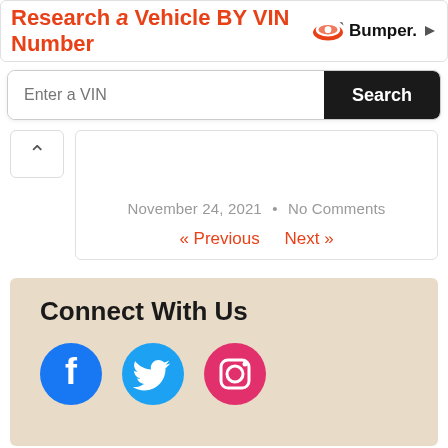[Figure (screenshot): Bumper VIN lookup advertisement banner with orange text 'Research a Vehicle BY VIN Number' and Bumper logo]
Enter a VIN
Search
November 24, 2021 • No Comments
« Previous   Next »
Connect With Us
[Figure (illustration): Social media icons: Facebook (blue circle), Twitter (blue circle), Instagram (pink circle)]
Recent Posts